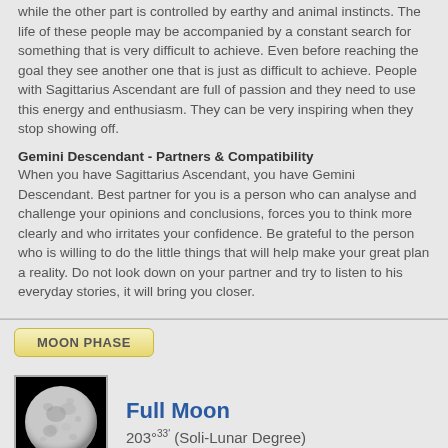while the other part is controlled by earthy and animal instincts. The life of these people may be accompanied by a constant search for something that is very difficult to achieve. Even before reaching the goal they see another one that is just as difficult to achieve. People with Sagittarius Ascendant are full of passion and they need to use this energy and enthusiasm. They can be very inspiring when they stop showing off.
Gemini Descendant - Partners & Compatibility
When you have Sagittarius Ascendant, you have Gemini Descendant. Best partner for you is a person who can analyse and challenge your opinions and conclusions, forces you to think more clearly and who irritates your confidence. Be grateful to the person who is willing to do the little things that will help make your great plan a reality. Do not look down on your partner and try to listen to his everyday stories, it will bring you closer.
MOON PHASE
[Figure (photo): Full moon photograph showing a nearly full moon with visible craters against a black background]
Full Moon
203°33' (Soli-Lunar Degree)